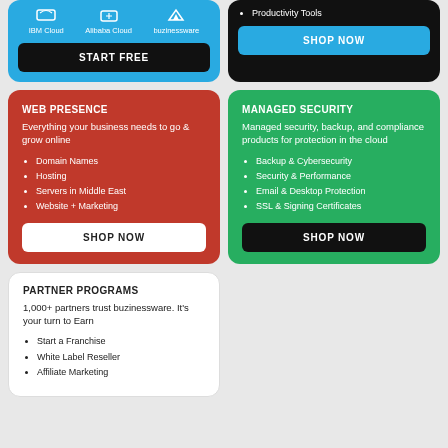[Figure (screenshot): Blue card with IBM Cloud, Alibaba Cloud, buzinessware logos and START FREE button (partially visible at top)]
[Figure (screenshot): Dark card with Productivity Tools bullet and SHOP NOW button (partially visible at top)]
WEB PRESENCE
Everything your business needs to go & grow online
Domain Names
Hosting
Servers in Middle East
Website + Marketing
MANAGED SECURITY
Managed security, backup, and compliance products for protection in the cloud
Backup & Cybersecurity
Security & Performance
Email & Desktop Protection
SSL & Signing Certificates
PARTNER PROGRAMS
1,000+ partners trust buzinessware. It's your turn to Earn
Start a Franchise
White Label Reseller
Affiliate Marketing